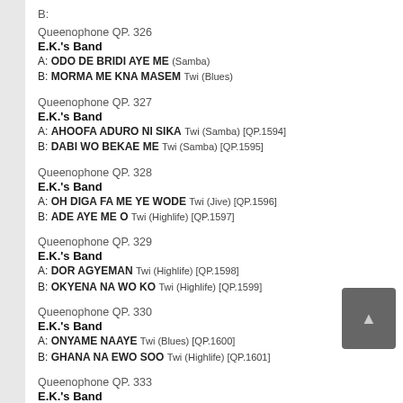B:
Queenophone QP. 326
E.K.'s Band
A: ODO DE BRIDI AYE ME (Samba)
B: MORMA ME KNA MASEM Twi (Blues)
Queenophone QP. 327
E.K.'s Band
A: AHOOFA ADURO NI SIKA Twi (Samba) [QP.1594]
B: DABI WO BEKAE ME Twi (Samba) [QP.1595]
Queenophone QP. 328
E.K.'s Band
A: OH DIGA FA ME YE WODE Twi (Jive) [QP.1596]
B: ADE AYE ME O Twi (Highlife) [QP.1597]
Queenophone QP. 329
E.K.'s Band
A: DOR AGYEMAN Twi (Highlife) [QP.1598]
B: OKYENA NA WO KO Twi (Highlife) [QP.1599]
Queenophone QP. 330
E.K.'s Band
A: ONYAME NAAYE Twi (Blues) [QP.1600]
B: GHANA NA EWO SOO Twi (Highlife) [QP.1601]
Queenophone QP. 333
E.K.'s Band
A: GYAE MENUA ENYE BIRIBI Twi (Samba) [QP 1606]